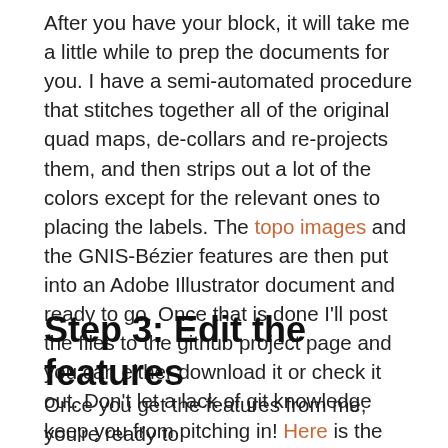After you have your block, it will take me a little while to prep the documents for you. I have a semi-automated procedure that stitches together all of the original quad maps, de-collars and re-projects them, and then strips out a lot of the colors except for the relevant ones to placing the labels. The topo images and the GNIS-Bézier features are then put into an Adobe Illustrator document and ready to go. Once that is done I'll post the files to the github project page and you can either download it or check it out. Don't let a lack of git knowledge keep you from pitching in! Here is the repository if you want to check out the work so far.
Step 3: Edit the features
Once you get the features from me, you're ready to